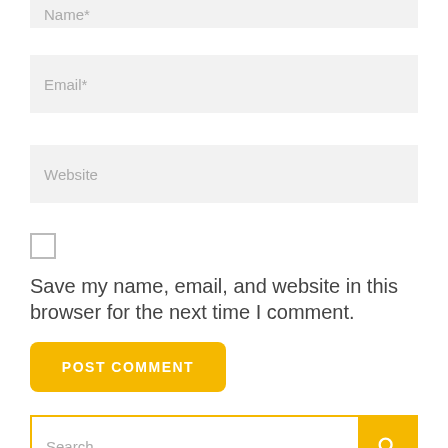Name*
Email*
Website
Save my name, email, and website in this browser for the next time I comment.
POST COMMENT
Search ...